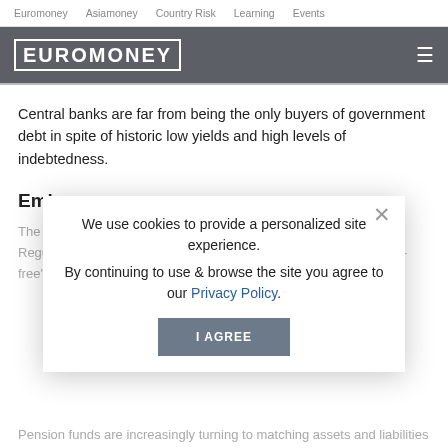Euromoney   Asiamoney   Country Risk   Learning   Events
[Figure (logo): Euromoney logo in white block letters on dark grey navigation bar with hamburger menu icon]
Central banks are far from being the only buyers of government debt in spite of historic low yields and high levels of indebtedness.
Embrace
We use cookies to provide a personalized site experience.
By continuing to use & browse the site you agree to our Privacy Policy.
Pension funds are increasingly turning to matching assets and liabilities by buying nominal and inflations-